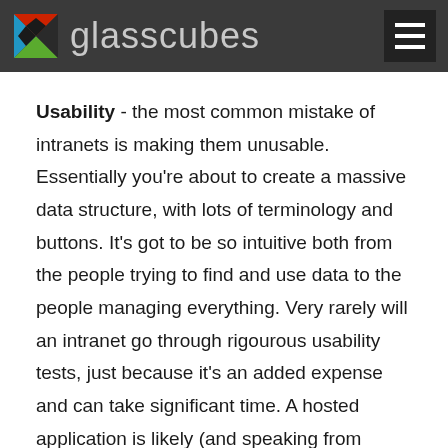glasscubes
Usability - the most common mistake of intranets is making them unusable. Essentially you're about to create a massive data structure, with lots of terminology and buttons. It's got to be so intuitive both from the people trying to find and use data to the people managing everything. Very rarely will an intranet go through rigourous usability tests, just because it's an added expense and can take significant time. A hosted application is likely (and speaking from experience) to take into account many ages, uses, studies over a significant amount of time to get their application right for you. It just means it's one less